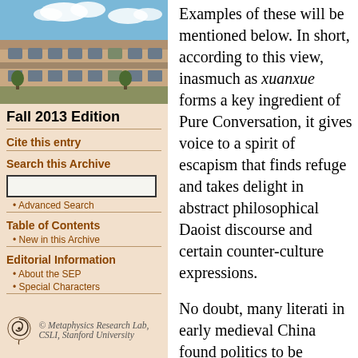[Figure (photo): Sandstone university building with blue sky background]
Fall 2013 Edition
Cite this entry
Search this Archive
Advanced Search
Table of Contents
New in this Archive
Editorial Information
About the SEP
Special Characters
[Figure (logo): Metaphysics Research Lab, CSLI, Stanford University logo with spiral symbol]
Examples of these will be mentioned below. In short, according to this view, inasmuch as xuanxue forms a key ingredient of Pure Conversation, it gives voice to a spirit of escapism that finds refuge and takes delight in abstract philosophical Daoist discourse and certain counter-culture expressions.
No doubt, many literati in early medieval China found politics to be exceedingly corrupt. During this time, eremitic ideals also became entrenched in mainstream high culture. Nevertheless, the charge of escapism does not do justice to